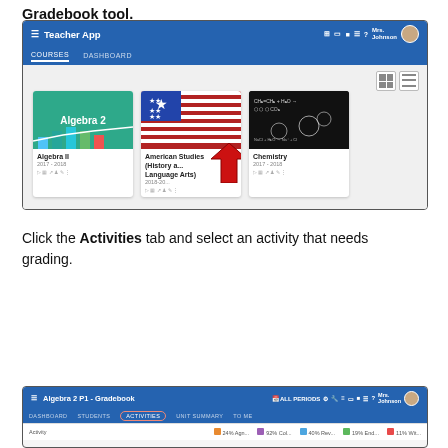Gradebook tool.
[Figure (screenshot): Teacher App interface showing course cards: Algebra II, American Studies (History and Language Arts), and Chemistry. A red arrow points to the gradebook icon on the American Studies card.]
Click the Activities tab and select an activity that needs grading.
[Figure (screenshot): Algebra 2 P1 - Gradebook interface showing the Activities tab highlighted with a red oval, along with Dashboard, Students, Unit Summary, and To Me tabs.]